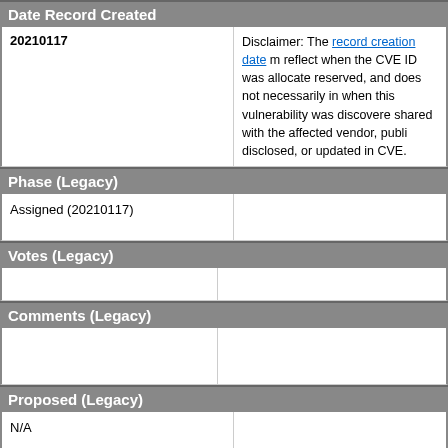Date Record Created
|  |  |
| --- | --- |
| 20210117 | Disclaimer: The record creation date may reflect when the CVE ID was allocated or reserved, and does not necessarily indicate when this vulnerability was discovered, shared with the affected vendor, publicly disclosed, or updated in CVE. |
Phase (Legacy)
|  |  |
| --- | --- |
| Assigned (20210117) |  |
Votes (Legacy)
|  |  |
| --- | --- |
|  |  |
Comments (Legacy)
|  |  |
| --- | --- |
|  |  |
Proposed (Legacy)
|  |  |
| --- | --- |
| N/A |  |
This is a record on the CVE List, which provides common identifiers for publicly known cybersecurity vulnerabilities.
SEARCH CVE USING KEYWORDS:
Submit
You can also search by reference using the CVE Reference Maps.
For More Information: CVE Request Web Form (select "Other"